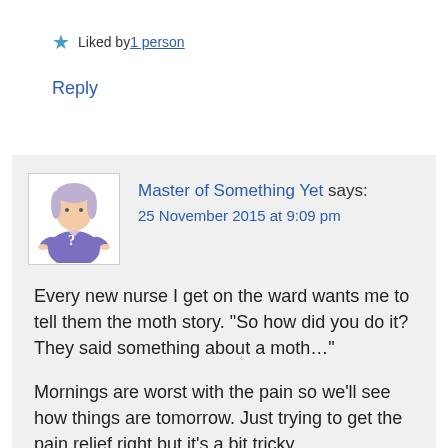★ Liked by 1 person
Reply
Master of Something Yet says:
25 November 2015 at 9:09 pm

Every new nurse I get on the ward wants me to tell them the moth story. "So how did you do it? They said something about a moth…"

Mornings are worst with the pain so we'll see how things are tomorrow. Just trying to get the pain relief right but it's a bit tricky...